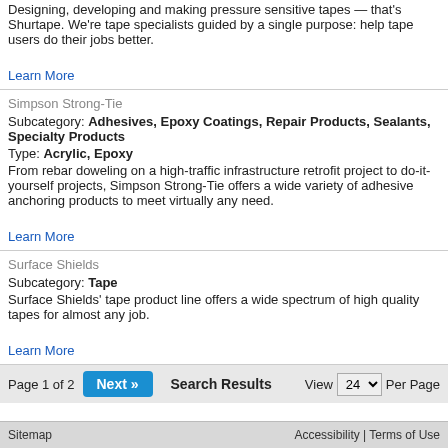Designing, developing and making pressure sensitive tapes — that's Shurtape. We're tape specialists guided by a single purpose: help tape users do their jobs better.
Learn More
Simpson Strong-Tie
Subcategory: Adhesives, Epoxy Coatings, Repair Products, Sealants, Specialty Products
Type: Acrylic, Epoxy
From rebar doweling on a high-traffic infrastructure retrofit project to do-it-yourself projects, Simpson Strong-Tie offers a wide variety of adhesive anchoring products to meet virtually any need.
Learn More
Surface Shields
Subcategory: Tape
Surface Shields' tape product line offers a wide spectrum of high quality tapes for almost any job.
Learn More
Page 1 of 2  Next »  Search Results  View 24 Per Page
Sitemap    Accessibility | Terms of Use